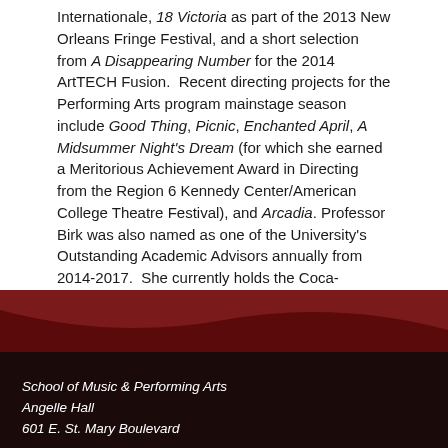Internationale, 18 Victoria as part of the 2013 New Orleans Fringe Festival, and a short selection from A Disappearing Number for the 2014 ArtTECH Fusion. Recent directing projects for the Performing Arts program mainstage season include Good Thing, Picnic, Enchanted April, A Midsummer Night's Dream (for which she earned a Meritorious Achievement Award in Directing from the Region 6 Kennedy Center/American College Theatre Festival), and Arcadia. Professor Birk was also named as one of the University's Outstanding Academic Advisors annually from 2014-2017. She currently holds the Coca-Cola/BORSF Endowed Professorship in Performing Arts.
[Figure (infographic): Social sharing buttons: Facebook (blue), Twitter (light blue), Reddit (orange), Google+ (red), Email (gray), Share (green). Below: a Print button with printer icon.]
School of Music & Performing Arts
Angelle Hall
601 E. St. Mary Boulevard